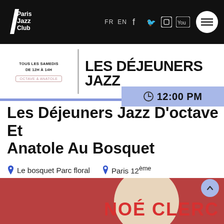Paris Jazz Club — FR EN navigation header with social icons and menu
[Figure (logo): Paris Jazz Club logo — white angular text on black background]
TOUS LES SAMEDIS DE 12H À 14H | LES DÉJEUNERS JAZZ
⏰ 12:00 PM
Les Déjeuners Jazz D'octave Et Anatole Au Bosquet
Le bosquet Parc floral    Paris 12ème    Swing    Free entrance